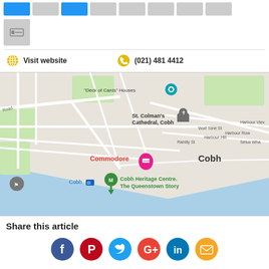[Figure (other): Row of image thumbnails — two blue and several grey placeholder boxes]
[Figure (other): Single grey thumbnail with a bed/hotel icon]
Visit website
(021) 481 4412
[Figure (map): Google Maps view of Cobh, Ireland showing St. Colman's Cathedral, Cobh Heritage Centre The Queenstown Story, Commodore hotel marker, Cobh train station, Deck of Cards Houses, Wolf Tone St, Harbour Row, Harbour Hill, Rahilly St, Sirius Wharf, Harbour View]
Share this article
[Figure (other): Social sharing icons: Facebook, Pinterest, Twitter, Google+, LinkedIn, Email]